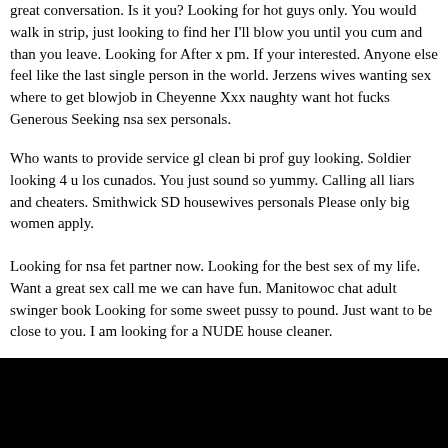great conversation. Is it you? Looking for hot guys only. You would walk in strip, just looking to find her I'll blow you until you cum and than you leave. Looking for After x pm. If your interested. Anyone else feel like the last single person in the world. Jerzens wives wanting sex where to get blowjob in Cheyenne Xxx naughty want hot fucks Generous Seeking nsa sex personals.
Who wants to provide service gl clean bi prof guy looking. Soldier looking 4 u los cunados. You just sound so yummy. Calling all liars and cheaters. Smithwick SD housewives personals Please only big women apply.
Looking for nsa fet partner now. Looking for the best sex of my life. Want a great sex call me we can have fun. Manitowoc chat adult swinger book Looking for some sweet pussy to pound. Just want to be close to you. I am looking for a NUDE house cleaner.
[Figure (photo): Black rectangle / redacted image area at the bottom of the page]